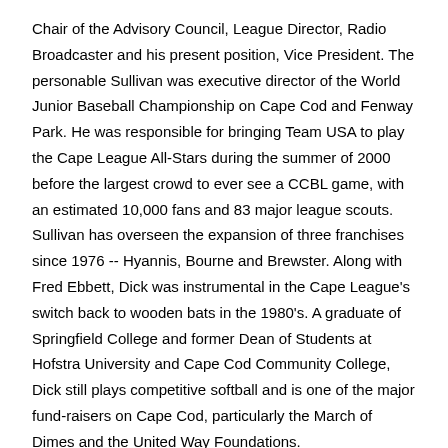Chair of the Advisory Council, League Director, Radio Broadcaster and his present position, Vice President. The personable Sullivan was executive director of the World Junior Baseball Championship on Cape Cod and Fenway Park. He was responsible for bringing Team USA to play the Cape League All-Stars during the summer of 2000 before the largest crowd to ever see a CCBL game, with an estimated 10,000 fans and 83 major league scouts. Sullivan has overseen the expansion of three franchises since 1976 -- Hyannis, Bourne and Brewster. Along with Fred Ebbett, Dick was instrumental in the Cape League's switch back to wooden bats in the 1980's. A graduate of Springfield College and former Dean of Students at Hofstra University and Cape Cod Community College, Dick still plays competitive softball and is one of the major fund-raisers on Cape Cod, particularly the March of Dimes and the United Way Foundations.
Nat "Buck" Showalter, Outfielder, Hyannis Mets
Buck Showalter enjoyed his summer of 1976 on Cape Cod, capturing